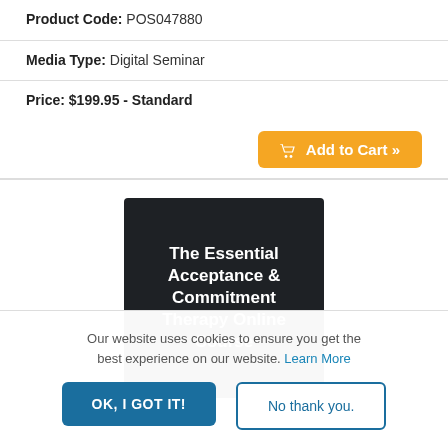Product Code: POS047880
Media Type: Digital Seminar
Price: $199.95 - Standard
[Figure (illustration): Orange Add to Cart button with shopping cart icon]
[Figure (illustration): Dark background product image with white bold text reading: The Essential Acceptance & Commitment Therapy Online Course]
Our website uses cookies to ensure you get the best experience on our website. Learn More
OK, I GOT IT!
No thank you.